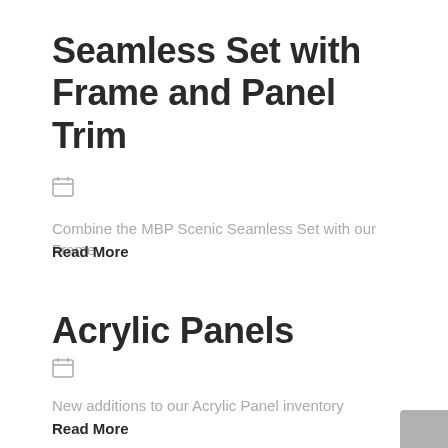Seamless Set with Frame and Panel Trim
[Figure (illustration): Calendar icon]
Combine the MBP Scenic Seamless Set with our Frame
Read More
Acrylic Panels
[Figure (illustration): Calendar icon]
New additions to our Acrylic Panel inventory
Read More